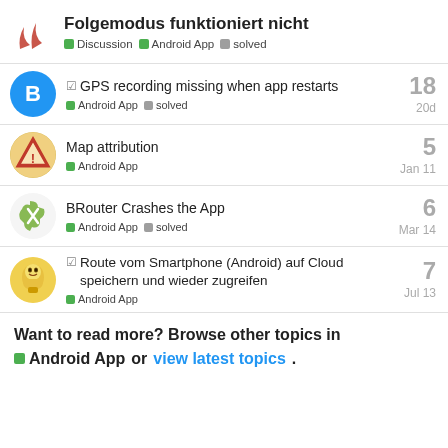Folgemodus funktioniert nicht — Discussion · Android App · solved
GPS recording missing when app restarts — Android App · solved — 18 replies — 20d
Map attribution — Android App — 5 replies — Jan 11
BRouter Crashes the App — Android App · solved — 6 replies — Mar 14
Route vom Smartphone (Android) auf Cloud speichern und wieder zugreifen — Android App — 7 replies — Jul 13
Want to read more? Browse other topics in Android App or view latest topics.